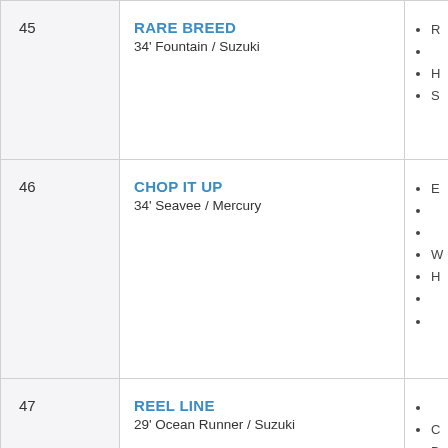| # | Boat Name / Spec | Details |
| --- | --- | --- |
| 45 | RARE BREED
34' Fountain / Suzuki | • …
• …
• …
• … |
| 46 | CHOP IT UP
34' Seavee / Mercury | • …
• …
• …
• …
• …
• …
• … |
| 47 | REEL LINE
29' Ocean Runner / Suzuki | • …
• …
• …
• …
• …
• … |
| 48 | REEL DREAMS | • … |